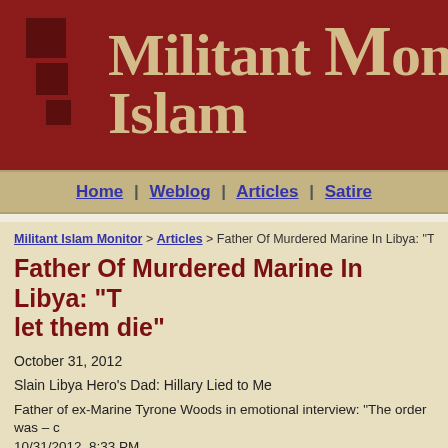[Figure (logo): Militant Islam Monitor website header banner with dark red dotted background, dark red squares on the left, and large serif text 'Militant Islam Monit' in tan/gold color]
Home | Weblog | Articles | Satire
Militant Islam Monitor > Articles > Father Of Murdered Marine In Libya: "Th
Father Of Murdered Marine In Libya: "T let them die"
October 31, 2012
Slain Libya Hero's Dad: Hillary Lied to Me
Father of ex-Marine Tyrone Woods in emotional interview: "The order was – c 10/31/2012, 8:33 PM
The father of ex-Marine Tyrone Woods gave an emotional interview to Fox N... House for refusing to send help to the U.S. consular compound in Benghazi w... disobeyed orders to stand down and came to the assistance of the besieged...